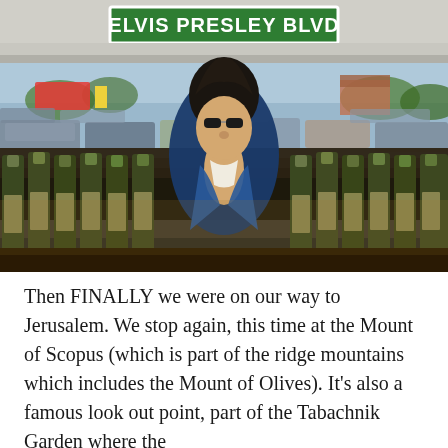[Figure (photo): Photo of an Elvis Presley figurine or mannequin with dark hair and sunglasses, surrounded by wine bottles bearing Elvis's image on their labels. In the background there is a parking lot visible through a window. A green street sign reading 'ELVIS PRESLEY BLVD' is visible at the top.]
Then FINALLY we were on our way to Jerusalem. We stop again, this time at the Mount of Scopus (which is part of the ridge mountains which includes the Mount of Olives). It's also a famous look out point, part of the Tabachnik Garden where the